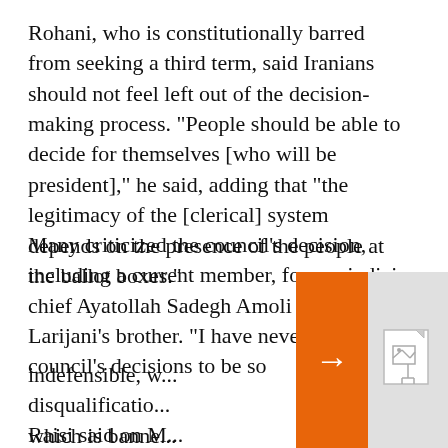Rohani, who is constitutionally barred from seeking a third term, said Iranians should not feel left out of the decision-making process. "People should be able to decide for themselves [who will be president]," he said, adding that "the legitimacy of the [clerical] system depends on the presence of the people at the ballot boxes."
Many criticized the council's decision, including a current member, former judiciary chief Ayatollah Sadegh Amoli Larijani, Ali Larijani's brother. "I have never found the council's decisions to be so indefensible, w... disqualification... which is banne... officials.
[Figure (screenshot): Orange arrow bar with navigation arrow overlaying the text, with a popup card showing a broken image icon and text reading 'Despite Sweeping Sanctions Over The Ukraine War, Russian Unemployment Touches Post-Soviet Low. Here's Why.']
Raisi said on M...